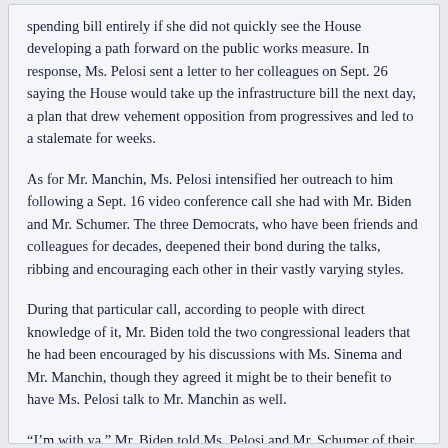spending bill entirely if she did not quickly see the House developing a path forward on the public works measure. In response, Ms. Pelosi sent a letter to her colleagues on Sept. 26 saying the House would take up the infrastructure bill the next day, a plan that drew vehement opposition from progressives and led to a stalemate for weeks.
As for Mr. Manchin, Ms. Pelosi intensified her outreach to him following a Sept. 16 video conference call she had with Mr. Biden and Mr. Schumer. The three Democrats, who have been friends and colleagues for decades, deepened their bond during the talks, ribbing and encouraging each other in their vastly varying styles.
During that particular call, according to people with direct knowledge of it, Mr. Biden told the two congressional leaders that he had been encouraged by his discussions with Ms. Sinema and Mr. Manchin, though they agreed it might be to their benefit to have Ms. Pelosi talk to Mr. Manchin as well.
“I’m with ya,” Mr. Biden told Ms. Pelosi and Mr. Schumer of their plans.
“Put an F-word in front of that,” Mr. Schumer said enthusiastically.
“Now that you’ve resorted to that language, I’m going to thank you, Mr.